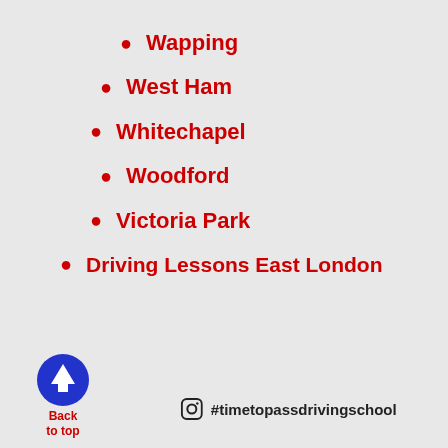Wapping
West Ham
Whitechapel
Woodford
Victoria Park
Driving Lessons East London
[Figure (logo): Blue circle with white upward arrow - Back to top button]
#timetopassdrivingschool